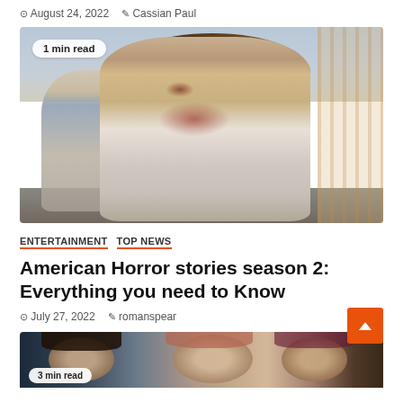August 24, 2022  Cassian Paul
[Figure (photo): Scene from American Horror Stories season 2 showing a young woman with blood on her face and neck, with a boy blurred in the background. A '1 min read' badge overlays the top-left of the image.]
1 min read
ENTERTAINMENT  TOP NEWS
American Horror stories season 2: Everything you need to Know
July 27, 2022  romanspear
[Figure (photo): Bottom partial image showing faces of people, with a '3 min read' badge partially visible.]
3 min read